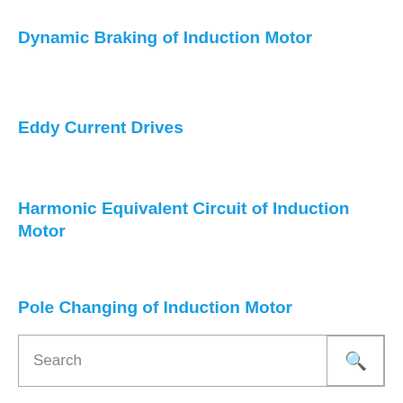Dynamic Braking of Induction Motor
Eddy Current Drives
Harmonic Equivalent Circuit of Induction Motor
Pole Changing of Induction Motor